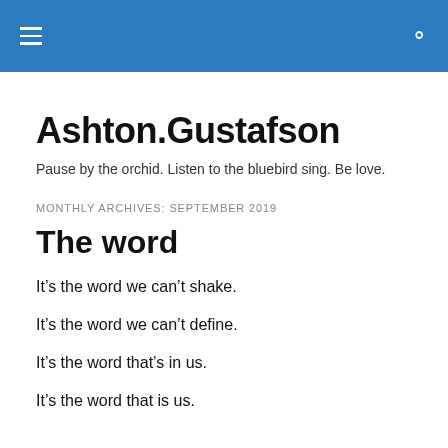Ashton.Gustafson
Pause by the orchid. Listen to the bluebird sing. Be love.
MONTHLY ARCHIVES: SEPTEMBER 2019
The word
It’s the word we can’t shake.
It’s the word we can’t define.
It’s the word that’s in us.
It’s the word that is us.